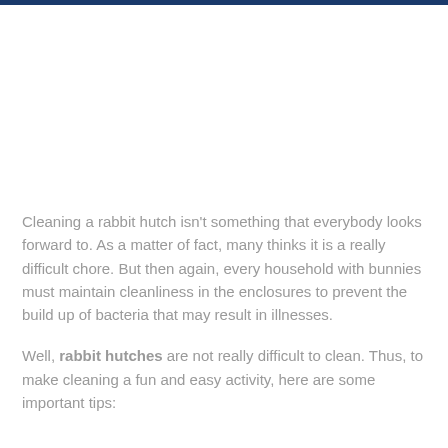Cleaning a rabbit hutch isn’t something that everybody looks forward to. As a matter of fact, many thinks it is a really difficult chore. But then again, every household with bunnies must maintain cleanliness in the enclosures to prevent the build up of bacteria that may result in illnesses.
Well, rabbit hutches are not really difficult to clean. Thus, to make cleaning a fun and easy activity, here are some important tips: